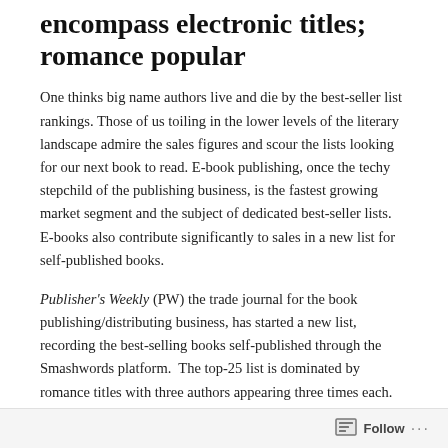encompass electronic titles; romance popular
One thinks big name authors live and die by the best-seller list rankings. Those of us toiling in the lower levels of the literary landscape admire the sales figures and scour the lists looking for our next book to read. E-book publishing, once the techy stepchild of the publishing business, is the fastest growing market segment and the subject of dedicated best-seller lists. E-books also contribute significantly to sales in a new list for self-published books.
Publisher's Weekly (PW) the trade journal for the book publishing/distributing business, has started a new list, recording the best-selling books self-published through the Smashwords platform. The top-25 list is dominated by romance titles with three authors appearing three times each. Each of those authors, Katie Ashely, Abbi Glines, and Shayne Parkinson, publish in e-book and paperback formats, as do many if not all in the top 25.
Follow